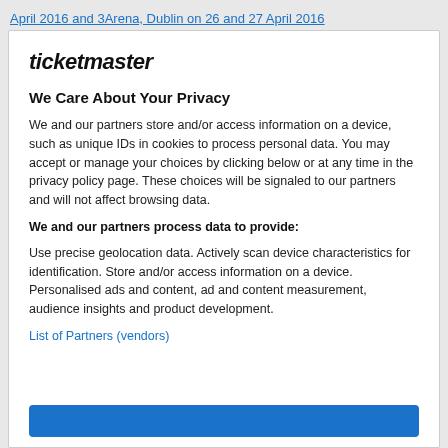April 2016 and 3Arena, Dublin on 26 and 27 April 2016
[Figure (logo): Ticketmaster logo in bold italic text]
We Care About Your Privacy
We and our partners store and/or access information on a device, such as unique IDs in cookies to process personal data. You may accept or manage your choices by clicking below or at any time in the privacy policy page. These choices will be signaled to our partners and will not affect browsing data.
We and our partners process data to provide:
Use precise geolocation data. Actively scan device characteristics for identification. Store and/or access information on a device. Personalised ads and content, ad and content measurement, audience insights and product development.
List of Partners (vendors)